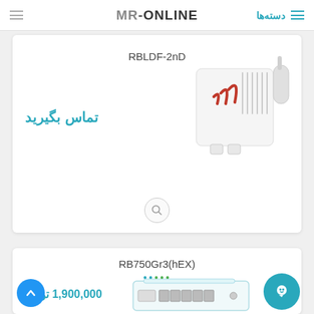MR-ONLINE | دسته‌ها
RBLDF-2nD
تماس بگیرید
[Figure (photo): MikroTik outdoor wireless access point product photo (RBLDF-2nD), white square device with red swoosh logo and antenna]
RB750Gr3(hEX)
1,900,000 تومان
[Figure (photo): MikroTik RB750Gr3 hEX router product photo, small white/teal desktop router with multiple ethernet ports]